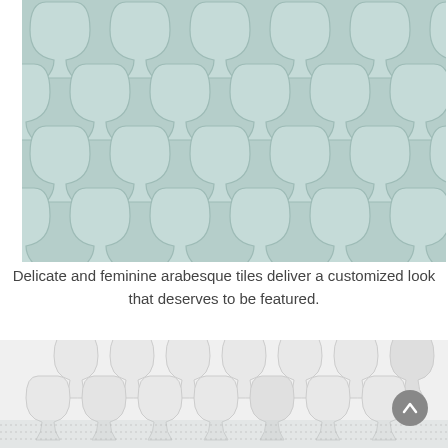[Figure (photo): Close-up photo of mint/seafoam green arabesque (Moroccan lantern shaped) mosaic tiles arranged in a repeating pattern with thin grout lines between each tile.]
Delicate and feminine arabesque tiles deliver a customized look that deserves to be featured.
[Figure (photo): Photo of white marble arabesque/Moroccan lantern shaped mosaic tiles arranged in rows on a mesh backing, showing a partial strip of tiles from above.]